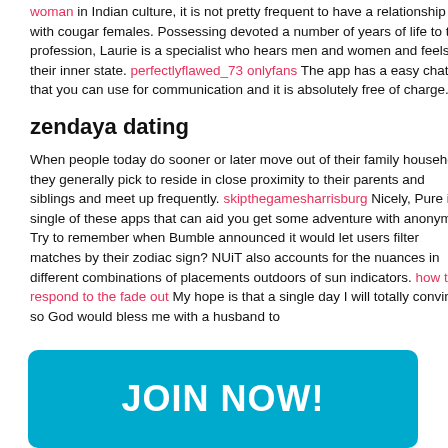woman in Indian culture, it is not pretty frequent to have a relationship with cougar females. Possessing devoted a number of years of life to this profession, Laurie is a specialist who hears men and women and feels their inner state. perfectlyflawed_73 onlyfans The app has a easy chat that you can use for communication and it is absolutely free of charge.
zendaya dating
When people today do sooner or later move out of their family household, they generally pick to reside in close proximity to their parents and siblings and meet up frequently. skipthegamesharrisburg Nicely, Pure is a single of these apps that can aid you get some adventure with anonymity. Try to remember when Bumble announced it would let users filter matches by their zodiac sign? NUiT also accounts for the nuances in different combinations of placements outdoors of sun indicators. how to respond to the fade out My hope is that a single day I will totally convince so God would bless me with a husband to
[Figure (other): Cyan JOIN NOW! button]